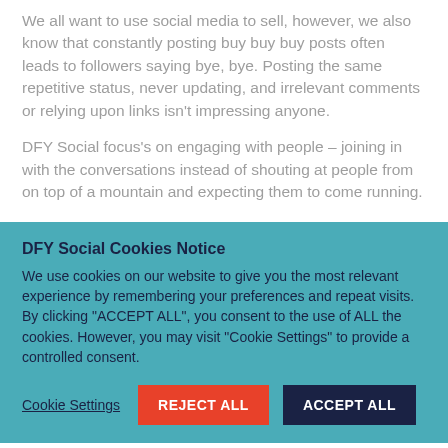We all want to use social media to sell, however, we also know that constantly posting buy buy buy posts often leads to followers saying bye, bye.  Posting the same repetitive status, never updating, and irrelevant comments or relying upon links isn't impressing anyone.
DFY Social focus's on engaging with people – joining in with the conversations instead of shouting at people from on top of a mountain and expecting them to come running.
DFY Social Cookies Notice
We use cookies on our website to give you the most relevant experience by remembering your preferences and repeat visits. By clicking "ACCEPT ALL", you consent to the use of ALL the cookies. However, you may visit "Cookie Settings" to provide a controlled consent.
Cookie Settings | REJECT ALL | ACCEPT ALL